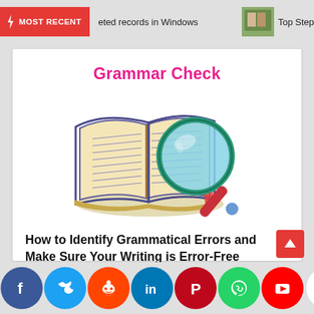MOST RECENT  eted records in Windows  Top Step
Grammar Check
[Figure (illustration): Illustration of an open book with a magnifying glass on top, in cartoon style with blue, teal, yellow, and red colors]
How to Identify Grammatical Errors and Make Sure Your Writing is Error-Free
Selim Reza
[Figure (infographic): Social sharing bar with icons for Facebook (blue), Twitter (teal), Reddit (orange), LinkedIn (blue), Pinterest (red), WhatsApp (green), YouTube (red), Gmail (red/white), Instagram (pink/purple), Messenger (blue), Yahoo (purple)]